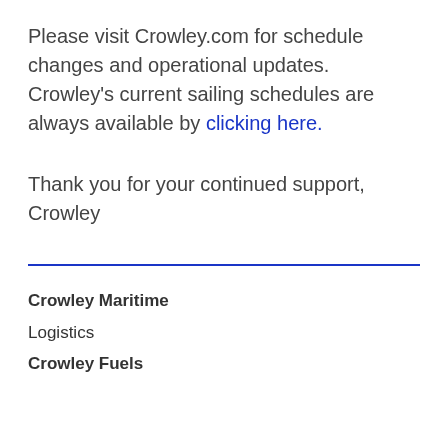Please visit Crowley.com for schedule changes and operational updates. Crowley's current sailing schedules are always available by clicking here.
Thank you for your continued support,
Crowley
Crowley Maritime
Logistics
Crowley Fuels